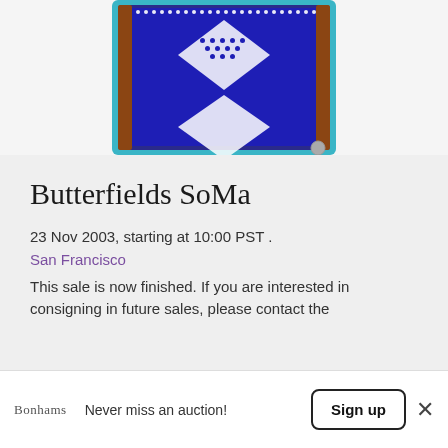[Figure (photo): Close-up photo of a beaded decorative item with blue, white, and brown geometric patterns on a teal/turquoise border, with a silver ball at the bottom right.]
Butterfields SoMa
23 Nov 2003, starting at 10:00 PST .
San Francisco
This sale is now finished. If you are interested in consigning in future sales, please contact the
Bonhams  Never miss an auction!
Sign up
×